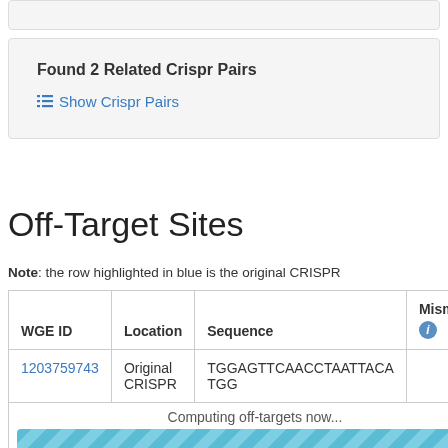Found 2 Related Crispr Pairs
Show Crispr Pairs
Off-Target Sites
Note: the row highlighted in blue is the original CRISPR
| WGE ID | Location | Sequence | Mismatch |
| --- | --- | --- | --- |
| 1203759743 | Original CRISPR | TGGAGTTCAACCTAATTACATGG |  |
|  | Computing off-targets now... |  |  |